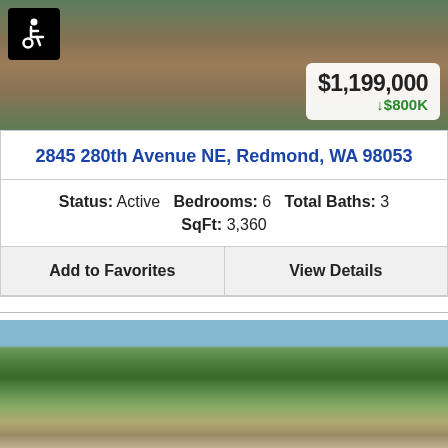[Figure (photo): Exterior photo of a home with wooden garage doors, gravel driveway, and surrounding trees. Black wheelchair accessibility icon badge in top-left. Price badge showing $1,199,000 with green down arrow and $800K in bottom-right corner.]
2845 280th Avenue NE, Redmond, WA 98053
Status: Active   Bedrooms: 6   Total Baths: 3   SqFt: 3,360
Add to Favorites   View Details
[Figure (photo): Exterior photo of a home surrounded by tall evergreen trees and other foliage, with a roofline visible at the bottom.]